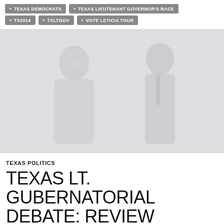TEXAS DEMOCRATS
TEXAS LIEUTENANT GOVERNOR'S RACE
TX2014
TXLTGOV
VOTE LETICIA TOUR
[Figure (photo): Faded/washed-out black and white photograph showing two people standing, a woman on the left and a man on the right wearing a tie, against a light background.]
TEXAS POLITICS
TEXAS LT. GUBERNATORIAL DEBATE: REVIEW